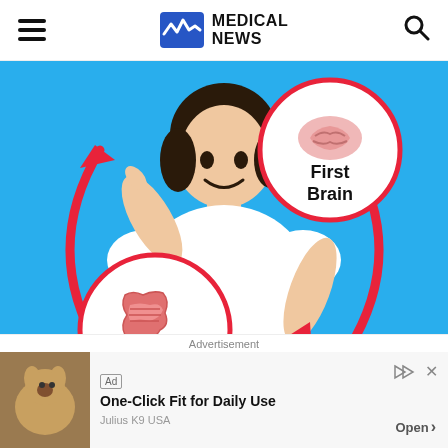MEDICAL NEWS
[Figure (illustration): Medical infographic showing a smiling Asian woman on a blue background. She points to her head with one hand. Two circular speech bubbles are overlaid: one at top showing a brain icon labeled 'First Brain', and one at bottom-left showing a gut/intestine icon labeled 'Second Brain'. Red arrows form a circular loop between the two bubbles, illustrating the gut-brain connection.]
Advertisement
[Figure (photo): Advertisement banner showing a dog (Shiba Inu) wearing a harness, with text 'One-Click Fit for Daily Use' and brand 'Julius K9 USA'. Includes 'Ad' tag and 'Open' button.]